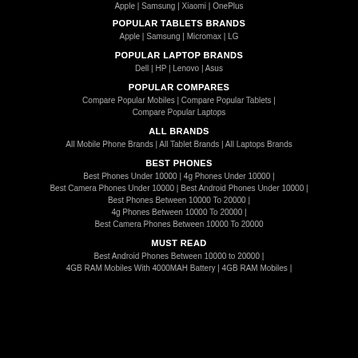Apple | Samsung | Xiaomi | OnePlus
POPULAR TABLETS BRANDS
Apple | Samsung | Micromax | LG
POPULAR LAPTOP BRANDS
Dell | HP | Lenovo | Asus
POPULAR COMPARES
Compare Popular Mobiles | Compare Popular Tablets | Compare Popular Laptops
ALL BRANDS
All Mobile Phone Brands | All Tablet Brands | All Laptops Brands
BEST PHONES
Best Phones Under 10000 | 4g Phones Under 10000 | Best Camera Phones Under 10000 | Best Android Phones Under 10000 | Best Phones Between 10000 To 20000 | 4g Phones Between 10000 To 20000 | Best Camera Phones Between 10000 To 20000
MUST READ
Best Android Phones Between 10000 to 20000 | 4GB RAM Mobiles With 4000MAH Battery | 4GB RAM Mobiles |